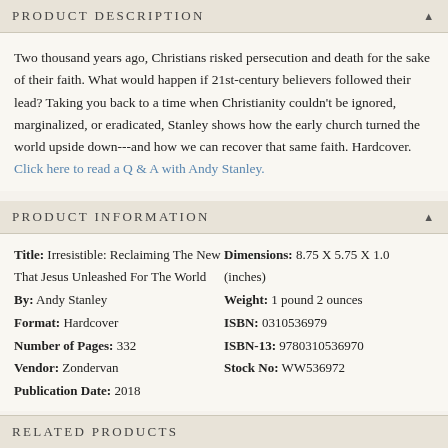PRODUCT DESCRIPTION
Two thousand years ago, Christians risked persecution and death for the sake of their faith. What would happen if 21st-century believers followed their lead? Taking you back to a time when Christianity couldn't be ignored, marginalized, or eradicated, Stanley shows how the early church turned the world upside down---and how we can recover that same faith. Hardcover. Click here to read a Q & A with Andy Stanley.
PRODUCT INFORMATION
Title: Irresistible: Reclaiming The New That Jesus Unleashed For The World
By: Andy Stanley
Format: Hardcover
Number of Pages: 332
Vendor: Zondervan
Publication Date: 2018
Dimensions: 8.75 X 5.75 X 1.0 (inches)
Weight: 1 pound 2 ounces
ISBN: 0310536979
ISBN-13: 9780310536970
Stock No: WW536972
RELATED PRODUCTS